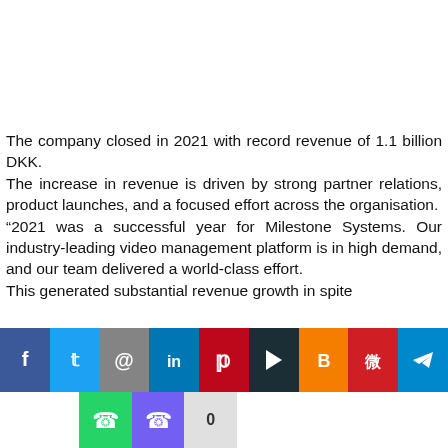The company closed in 2021 with record revenue of 1.1 billion DKK. The increase in revenue is driven by strong partner relations, product launches, and a focused effort across the organisation. “2021 was a successful year for Milestone Systems. Our industry-leading video management platform is in high demand, and our team delivered a world-class effort. This generated substantial revenue growth in spite
[Figure (infographic): Social media sharing icons bar: Facebook (blue), Twitter (light blue), Email/@ (gray), LinkedIn (dark blue), Pinterest (dark red), Pocket/bookmark (dark teal), Blogger (orange), Weibo (red), Telegram (blue); second row: WhatsApp (green), Viber (purple), share count 0 (light gray)]